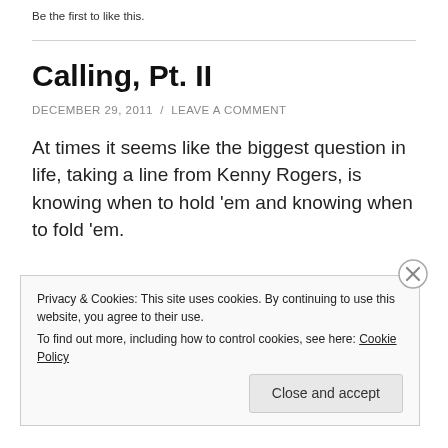Be the first to like this.
Calling, Pt. II
DECEMBER 29, 2011 / LEAVE A COMMENT
At times it seems like the biggest question in life, taking a line from Kenny Rogers, is knowing when to hold 'em and knowing when to fold 'em.
Privacy & Cookies: This site uses cookies. By continuing to use this website, you agree to their use.
To find out more, including how to control cookies, see here: Cookie Policy
Close and accept